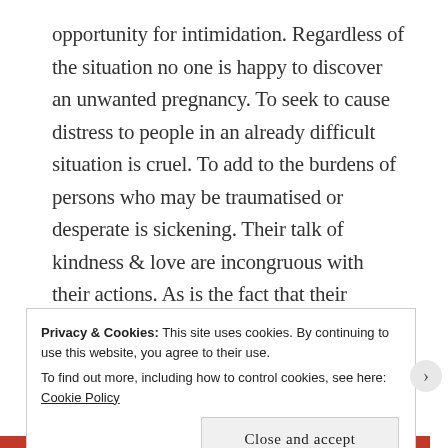opportunity for intimidation. Regardless of the situation no one is happy to discover an unwanted pregnancy. To seek to cause distress to people in an already difficult situation is cruel. To add to the burdens of persons who may be traumatised or desperate is sickening. Their talk of kindness & love are incongruous with their actions. As is the fact that their hospital vigils cause unneeded stress & upset to expectant mothers, women who have miscarried, women with seriously ill & premature babies. All of whom use the building they protest outside. Their
Privacy & Cookies: This site uses cookies. By continuing to use this website, you agree to their use.
To find out more, including how to control cookies, see here: Cookie Policy
Close and accept